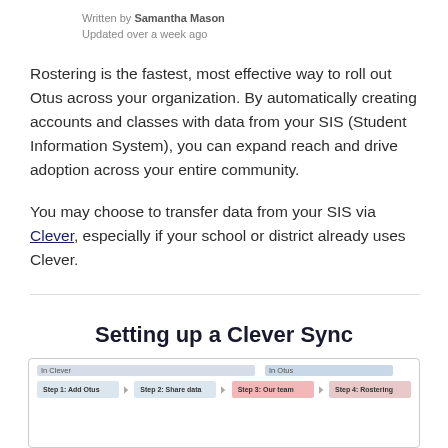Written by Samantha Mason
Updated over a week ago
Rostering is the fastest, most effective way to roll out Otus across your organization. By automatically creating accounts and classes with data from your SIS (Student Information System), you can expand reach and drive adoption across your entire community.
You may choose to transfer data from your SIS via Clever, especially if your school or district already uses Clever.
Setting up a Clever Sync
[Figure (flowchart): Flowchart showing steps for setting up a Clever Sync, divided into 'In Clever' and 'In Otus' sections. Steps: Step 1: Add Otus, Step 2: Share data, Step 3: Our team, Step 4: Rostering.]